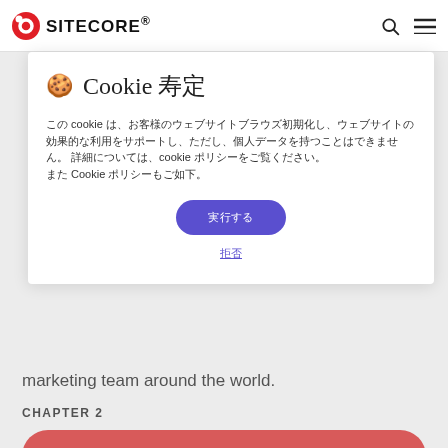SITECORE® [nav icons]
[Figure (screenshot): Cookie consent modal overlay on Sitecore website. Contains cookie icon, title 'Cookie ??', body text in Japanese/garbled characters referencing cookie policy, an accept button (purple pill), and a decline link below.]
marketing team around the world.
CHAPTER 2
[Figure (other): Red pill-shaped banner button with garbled/tofu text characters inside]